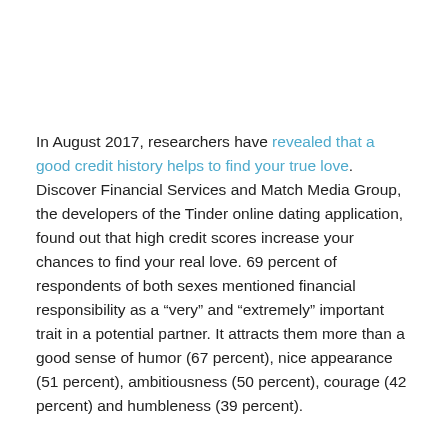In August 2017, researchers have revealed that a good credit history helps to find your true love. Discover Financial Services and Match Media Group, the developers of the Tinder online dating application, found out that high credit scores increase your chances to find your real love. 69 percent of respondents of both sexes mentioned financial responsibility as a “very” and “extremely” important trait in a potential partner. It attracts them more than a good sense of humor (67 percent), nice appearance (51 percent), ambitiousness (50 percent), courage (42 percent) and humbleness (39 percent).
That's why it can be possible soon that a girlfriend or a boyfriend will examine your smartphones not to catch you